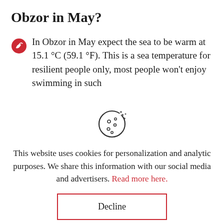Obzor in May?
In Obzor in May expect the sea to be warm at 15.1 °C (59.1 °F). This is a sea temperature for resilient people only, most people won't enjoy swimming in such
[Figure (illustration): Cookie icon — a circle with chocolate chip dots, representing a browser cookie]
This website uses cookies for personalization and analytic purposes. We share this information with our social media and advertisers. Read more here.
Decline
Accept